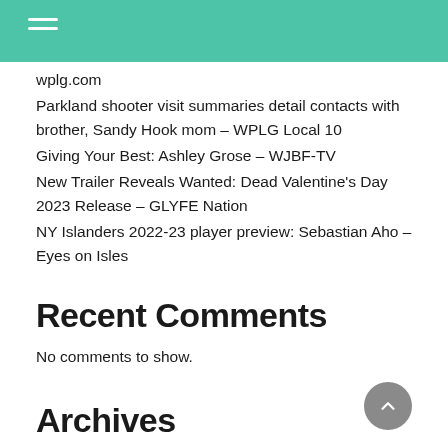wplg.com
Parkland shooter visit summaries detail contacts with brother, Sandy Hook mom – WPLG Local 10
Giving Your Best: Ashley Grose – WJBF-TV
New Trailer Reveals Wanted: Dead Valentine's Day 2023 Release – GLYFE Nation
NY Islanders 2022-23 player preview: Sebastian Aho – Eyes on Isles
Recent Comments
No comments to show.
Archives
August 2022